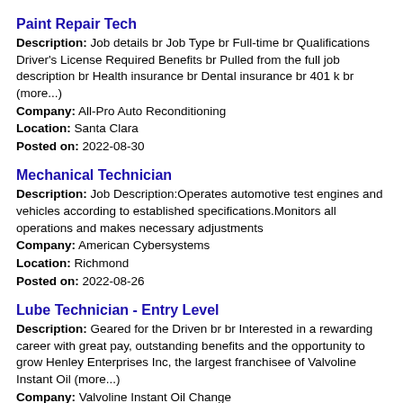Paint Repair Tech
Description: Job details br Job Type br Full-time br Qualifications Driver's License Required Benefits br Pulled from the full job description br Health insurance br Dental insurance br 401 k br (more...)
Company: All-Pro Auto Reconditioning
Location: Santa Clara
Posted on: 2022-08-30
Mechanical Technician
Description: Job Description:Operates automotive test engines and vehicles according to established specifications.Monitors all operations and makes necessary adjustments
Company: American Cybersystems
Location: Richmond
Posted on: 2022-08-26
Lube Technician - Entry Level
Description: Geared for the Driven br br Interested in a rewarding career with great pay, outstanding benefits and the opportunity to grow Henley Enterprises Inc, the largest franchisee of Valvoline Instant Oil (more...)
Company: Valvoline Instant Oil Change
Location: San Francisco
Posted on: 2022-08-26
Diesel Mechanic Technician - Entry Level